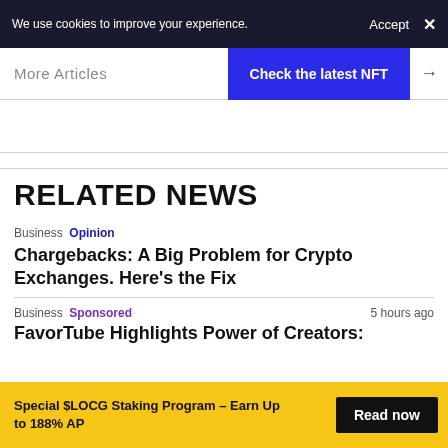We use cookies to improve your experience. Accept ×
More Articles
Check the latest NFT
RELATED NEWS
Business Opinion
Chargebacks: A Big Problem for Crypto Exchanges. Here's the Fix
Business Sponsored 5 hours ago
FavorTube Highlights Power of Creators:
Special $LOCG Staking Program – Earn Up to 188% AP Read now